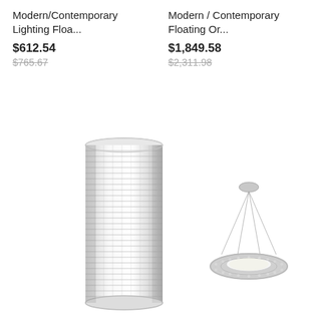Modern/Contemporary Lighting Floa...
$612.54
$765.67
Modern / Contemporary Floating Or...
$1,849.58
$2,311.98
[Figure (photo): Modern/Contemporary crystal cylindrical wall sconce lighting fixture, chrome finish with rows of crystals]
[Figure (photo): Modern/Contemporary floating ring chandelier, chrome finish with crystal detailing, suspended by thin cables from a ceiling canopy]